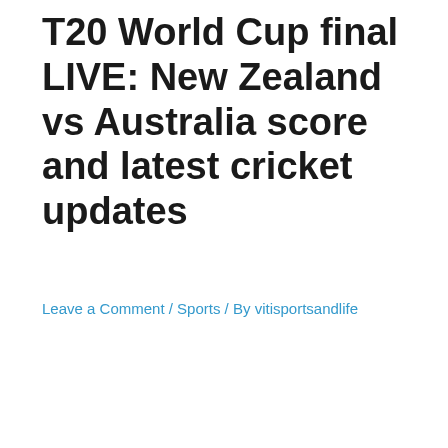T20 World Cup final LIVE: New Zealand vs Australia score and latest cricket updates
Leave a Comment / Sports / By vitisportsandlife